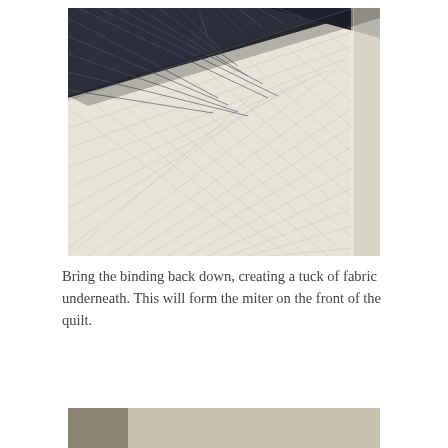[Figure (photo): Close-up photo of a quilt corner showing dark navy fabric on the back and cream/white quilted fabric on the front, with visible diagonal stitching pattern on the white fabric and parallel stitching lines on the dark fabric. The corner shows the binding being folded.]
Bring the binding back down, creating a tuck of fabric underneath. This will form the miter on the front of the quilt.
[Figure (photo): Partial view of another quilt photo, cropped at bottom of page.]